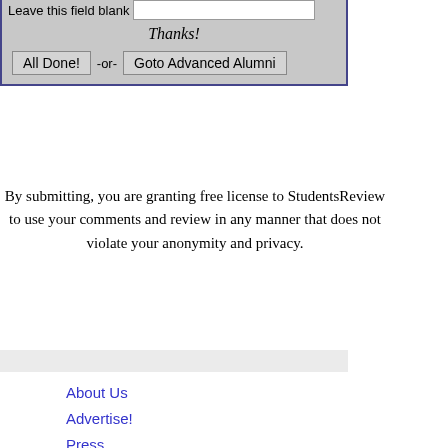[Figure (screenshot): Web form with 'Leave this field blank' label and text input, a 'Thanks!' italic message, and two buttons: 'All Done!' and 'Goto Advanced Alumni', set in a gray bordered box]
By submitting, you are granting free license to StudentsReview to use your comments and review in any manner that does not violate your anonymity and privacy.
About Us
Advertise!
Press
Privacy
Legal
All Universities in New York (NY)
Colleges in (or near) Syracuse
Lists of Rankings by State
College Search
College Rankings